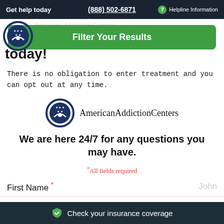Get help today  (888) 502-6871  ? Helpline Information
[Figure (logo): Partial AAC circular logo at top left, partially cropped]
Filter Your Results
today!
There is no obligation to enter treatment and you can opt out at any time.
[Figure (logo): American Addiction Centers logo with circular navy seal and text 'AmericanAddictionCenters']
We are here 24/7 for any questions you may have.
*All fields required
First Name *  John
Check your insurance coverage